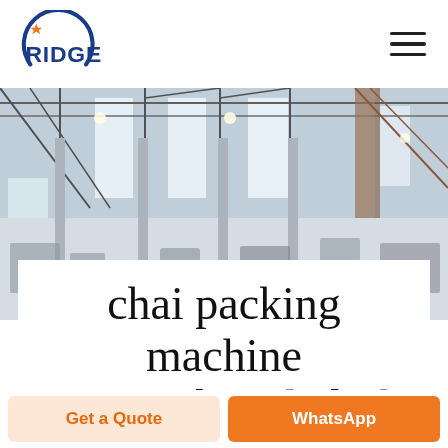RIDGE
[Figure (photo): Interior of a large industrial factory/warehouse with steel roof trusses, tall columns, bright skylights, and various machinery on the floor.]
chai packing machine price in bangladesh
Get a Quote
WhatsApp